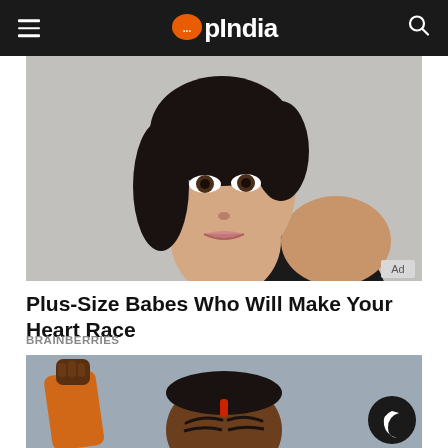OpIndia
[Figure (photo): Close-up portrait of a woman with dark hair and striking features, wearing a black top, against a grey background. Ad badge in lower right corner.]
Plus-Size Babes Who Will Make Your Heart Race
BRAINBERRIES
[Figure (photo): Man in orange garment with raised fist and a red tilak mark on his forehead, against a grey-blue background. Dark mode toggle button visible in bottom right.]